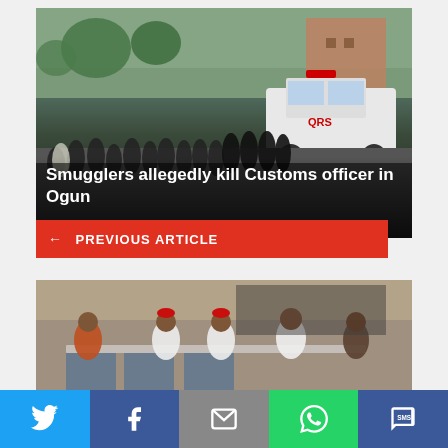[Figure (photo): Crowd of people standing in a street with police officers in black uniforms and a white QRS pickup truck in the background]
Smugglers allegedly kill Customs officer in Ogun
← PREVIOUS ARTICLE
[Figure (photo): Several men sitting at a table with logos/banners, wearing traditional caps and white clothing]
Twitter share button
Facebook share button
Email share button
WhatsApp share button
SMS share button